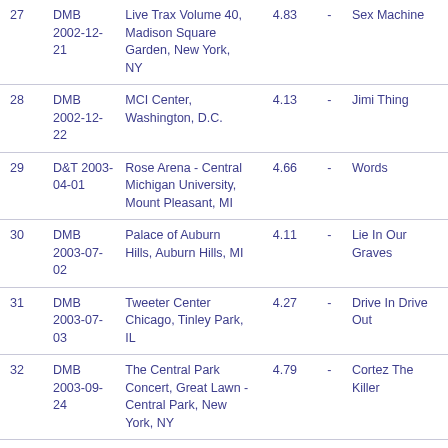| # | Source | Venue | Rating |  | Top Song |
| --- | --- | --- | --- | --- | --- |
| 27 | DMB 2002-12-21 | Live Trax Volume 40, Madison Square Garden, New York, NY | 4.83 | - | Sex Machine |
| 28 | DMB 2002-12-22 | MCI Center, Washington, D.C. | 4.13 | - | Jimi Thing |
| 29 | D&T 2003-04-01 | Rose Arena - Central Michigan University, Mount Pleasant, MI | 4.66 | - | Words |
| 30 | DMB 2003-07-02 | Palace of Auburn Hills, Auburn Hills, MI | 4.11 | - | Lie In Our Graves |
| 31 | DMB 2003-07-03 | Tweeter Center Chicago, Tinley Park, IL | 4.27 | - | Drive In Drive Out |
| 32 | DMB 2003-09-24 | The Central Park Concert, Great Lawn - Central Park, New York, NY | 4.79 | - | Cortez The Killer |
| 33 | D&F 2003-12-15 | Wachovia Center, Philadelphia, PA | 4.42 | - | Superstition |